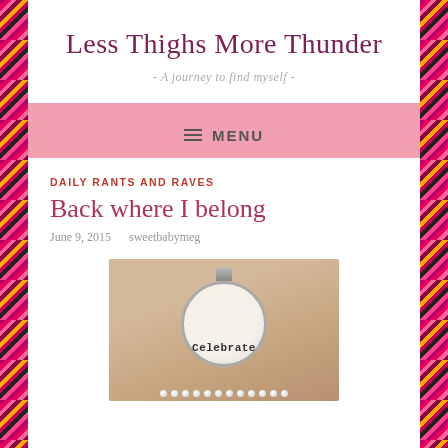Less Thighs More Thunder
- A journey to find myself -
☰ MENU
DAILY RANTS AND RAVES
Back where I belong
June 9, 2015   sweetbabymeg
[Figure (photo): A silver pendant necklace on a pearl chain, showing a circular charm with typewriter-font text reading 'Celebrate', photographed against a warm beige/tan background]